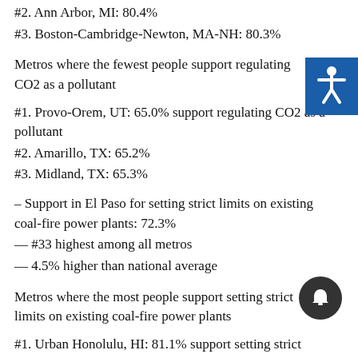#2. Ann Arbor, MI: 80.4%
#3. Boston-Cambridge-Newton, MA-NH: 80.3%
Metros where the fewest people support regulating CO2 as a pollutant
#1. Provo-Orem, UT: 65.0% support regulating CO2 as a pollutant
#2. Amarillo, TX: 65.2%
#3. Midland, TX: 65.3%
– Support in El Paso for setting strict limits on existing coal-fire power plants: 72.3%
— #33 highest among all metros
— 4.5% higher than national average
Metros where the most people support setting strict limits on existing coal-fire power plants
#1. Urban Honolulu, HI: 81.1% support setting strict limits on existing coal-fire power plants